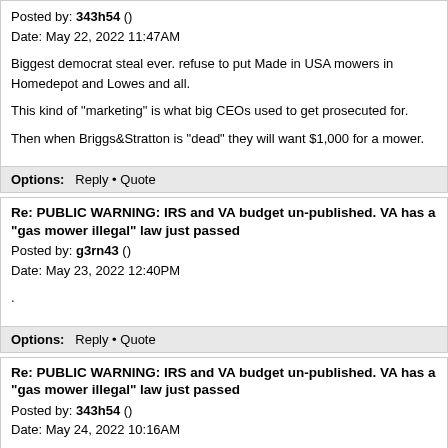Posted by: 343h54 ()
Date: May 22, 2022 11:47AM

Biggest democrat steal ever. refuse to put Made in USA mowers in Homedepot and Lowes and all.

This kind of "marketing" is what big CEOs used to get prosecuted for.

Then when Briggs&Stratton is "dead" they will want $1,000 for a mower.
Options:   Reply • Quote
Re: PUBLIC WARNING: IRS and VA budget un-published. VA has a "gas mower illegal" law just passed
Posted by: g3rn43 ()
Date: May 23, 2022 12:40PM

.
Options:   Reply • Quote
Re: PUBLIC WARNING: IRS and VA budget un-published. VA has a "gas mower illegal" law just passed
Posted by: 343h54 ()
Date: May 24, 2022 10:16AM

.
Options:   Reply • Quote